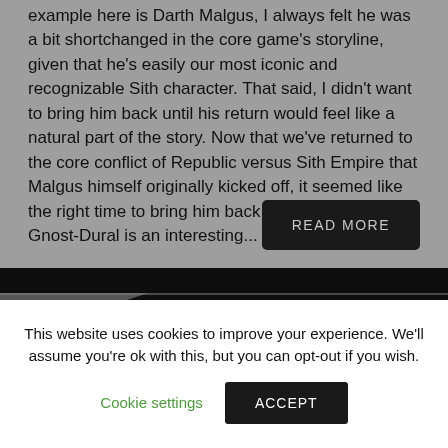example here is Darth Malgus, I always felt he was a bit shortchanged in the core game's storyline, given that he's easily our most iconic and recognizable Sith character. That said, I didn't want to bring him back until his return would feel like a natural part of the story. Now that we've returned to the core conflict of Republic versus Sith Empire that Malgus himself originally kicked off, it seemed like the right time to bring him back into the fold. Master Gnost-Dural is an interesting...
READ MORE
This website uses cookies to improve your experience. We'll assume you're ok with this, but you can opt-out if you wish.
Cookie settings
ACCEPT